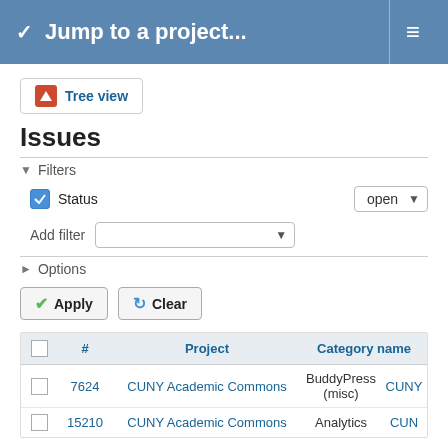Jump to a project...
[Figure (screenshot): Tree view button with orange alert icon]
Issues
Filters — Status: open
Add filter (dropdown)
Options (collapsed)
Apply | Clear
|  | # | Project | Category name |  |
| --- | --- | --- | --- | --- |
|  | 7624 | CUNY Academic Commons | BuddyPress (misc) | CUNY |
|  | 15210 | CUNY Academic Commons | Analytics | CUN |